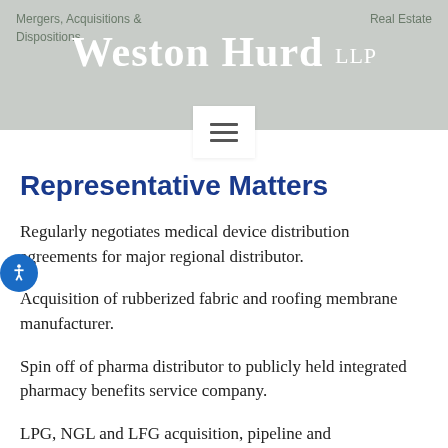Mergers, Acquisitions & Dispositions   Weston Hurd LLP   Real Estate
Representative Matters
Regularly negotiates medical device distribution agreements for major regional distributor.
Acquisition of rubberized fabric and roofing membrane manufacturer.
Spin off of pharma distributor to publicly held integrated pharmacy benefits service company.
LPG, NGL and LFG acquisition, pipeline and